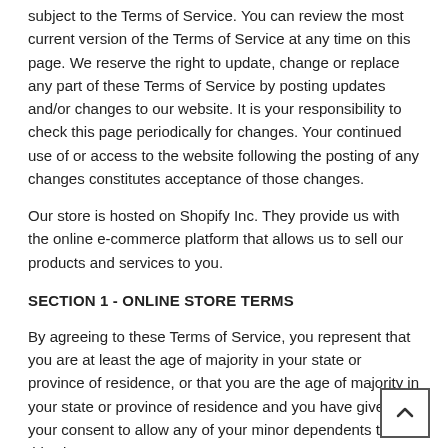subject to the Terms of Service. You can review the most current version of the Terms of Service at any time on this page. We reserve the right to update, change or replace any part of these Terms of Service by posting updates and/or changes to our website. It is your responsibility to check this page periodically for changes. Your continued use of or access to the website following the posting of any changes constitutes acceptance of those changes.
Our store is hosted on Shopify Inc. They provide us with the online e-commerce platform that allows us to sell our products and services to you.
SECTION 1 - ONLINE STORE TERMS
By agreeing to these Terms of Service, you represent that you are at least the age of majority in your state or province of residence, or that you are the age of majority in your state or province of residence and you have given us your consent to allow any of your minor dependents to use this site.
You may not use our products for any illegal or unauthorized purpose nor may you, in the use of the Service, violate any laws in your jurisdiction (including but not limited to copyright laws).
You must not transmit any worms or viruses or any code of a destructive nature.
A breach or violation of any of the Terms will result in an immediate termination of your Services.